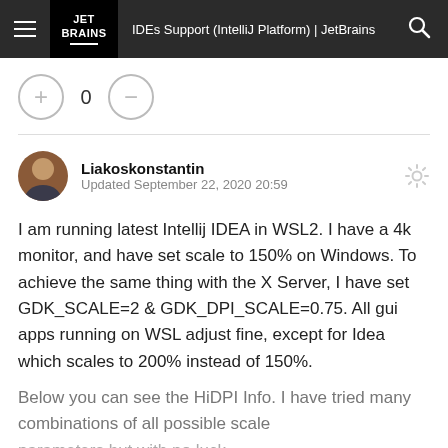IDEs Support (IntelliJ Platform) | JetBrains
0
Liakoskonstantin
Updated September 22, 2020 20:59
I am running latest Intellij IDEA in WSL2. I have a 4k monitor, and have set scale to 150% on Windows. To achieve the same thing with the X Server, I have set GDK_SCALE=2 & GDK_DPI_SCALE=0.75. All gui apps running on WSL adjust fine, except for Idea which scales to 200% instead of 150%.
Below you can see the HiDPI Info. I have tried many combinations of all possible scale parameters but with no luck.